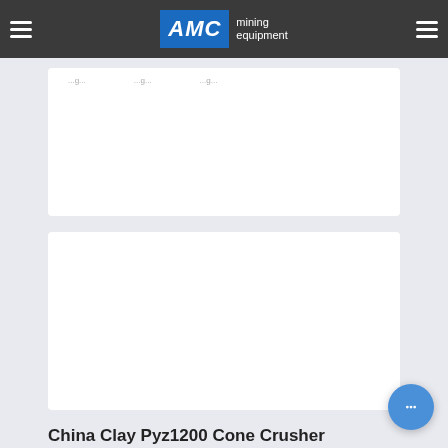AMC mining equipment
[Figure (screenshot): White card area partially visible with faint navigation link text]
[Figure (screenshot): White card area (empty product image placeholder)]
China Clay Pyz1200 Cone Crusher